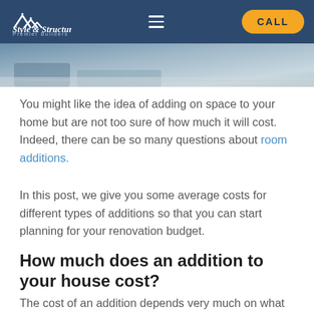Style & Structure Premier Builders — navigation header with CALL button
[Figure (photo): Partial view of an interior room with blue tones, marble-like floor surface visible at bottom]
You might like the idea of adding on space to your home but are not too sure of how much it will cost. Indeed, there can be so many questions about room additions.
In this post, we give you some average costs for different types of additions so that you can start planning for your renovation budget.
How much does an addition to your house cost?
The cost of an addition depends very much on what you want. Bigger projects will cost more, as well as hiring an experienced contractor. The